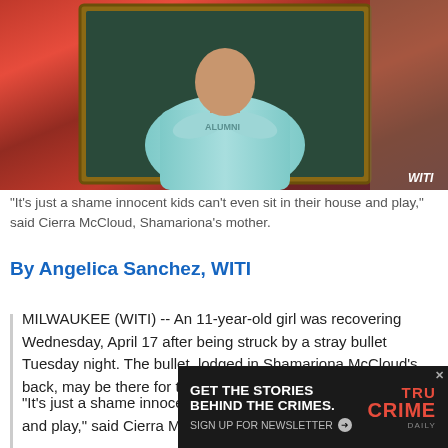[Figure (photo): Photo of a person in a light blue long-sleeve shirt with arms crossed, displayed in a framed portrait. Background is red/multicolored fabric. WITI watermark in bottom right corner.]
"It's just a shame innocent kids can't even sit in their house and play," said Cierra McCloud, Shamariona's mother.
By Angelica Sanchez, WITI
MILWAUKEE (WITI) -- An 11-year-old girl was recovering Wednesday, April 17 after being struck by a stray bullet Tuesday night. The bullet, lodged in Shamariona McCloud's back, may be there for the rest of her life.
"It's just a shame innocent kids can't even sit in their house and play," said Cierra McCloud, Shamariona's moth
[Figure (other): Advertisement: GET THE STORIES BEHIND THE CRIMES. SIGN UP FOR NEWSLETTER. True Crime Daily logo.]